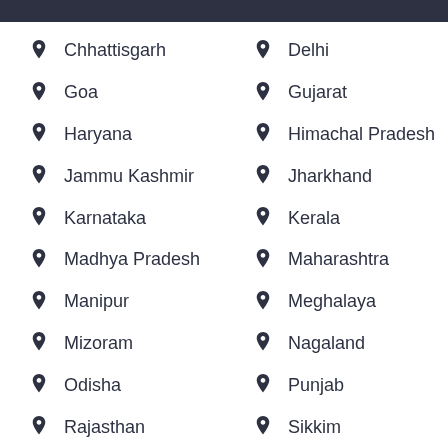Chhattisgarh
Delhi
Goa
Gujarat
Haryana
Himachal Pradesh
Jammu Kashmir
Jharkhand
Karnataka
Kerala
Madhya Pradesh
Maharashtra
Manipur
Meghalaya
Mizoram
Nagaland
Odisha
Punjab
Rajasthan
Sikkim